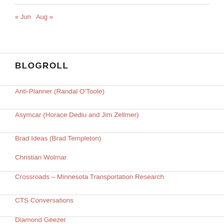« Jun   Aug »
BLOGROLL
Anti-Planner (Randal O'Toole)
Asymcar (Horace Dediu and Jim Zellmer)
Brad Ideas (Brad Templeton)
Christian Wolmar
Crossroads – Minnesota Transportation Research
CTS Conversations
Diamond Geezer